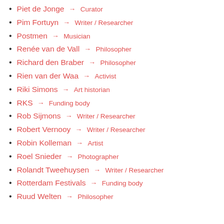Piet de Jonge → Curator
Pim Fortuyn → Writer / Researcher
Postmen → Musician
Renée van de Vall → Philosopher
Richard den Braber → Philosopher
Rien van der Waa → Activist
Riki Simons → Art historian
RKS → Funding body
Rob Sijmons → Writer / Researcher
Robert Vernooy → Writer / Researcher
Robin Kolleman → Artist
Roel Snieder → Photographer
Rolandt Tweehuysen → Writer / Researcher
Rotterdam Festivals → Funding body
Ruud Welten → Philosopher